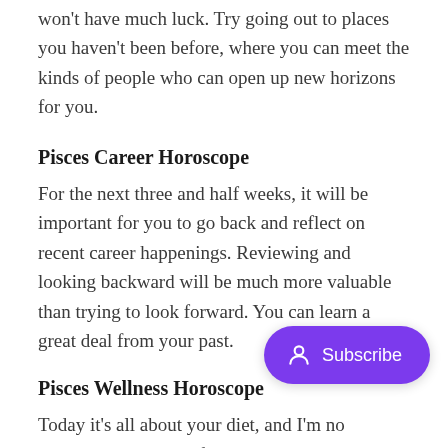won't have much luck. Try going out to places you haven't been before, where you can meet the kinds of people who can open up new horizons for you.
Pisces Career Horoscope
For the next three and half weeks, it will be important for you to go back and reflect on recent career happenings. Reviewing and looking backward will be much more valuable than trying to look forward. You can learn a great deal from your past.
Pisces Wellness Horoscope
Today it's all about your diet, and I'm no weight! Give yourself what you've bee crave what our bodies need. It's important to listen to your body, especially when you drive yourself as hard as you do